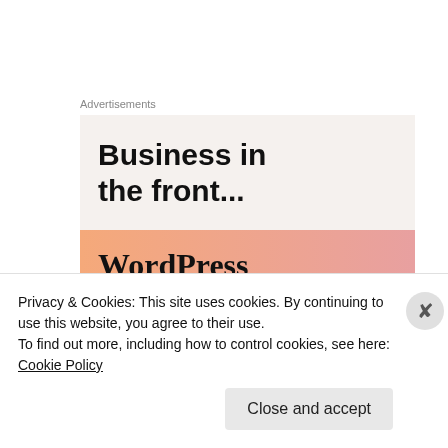Advertisements
[Figure (screenshot): WordPress advertisement banner. Top half has light beige background with bold text 'Business in the front...', bottom half has a peach-to-pink gradient with 'WordPress' text in serif font.]
[Figure (photo): Partial photo of what appears to be food items on a gray background.]
Privacy & Cookies: This site uses cookies. By continuing to use this website, you agree to their use.
To find out more, including how to control cookies, see here: Cookie Policy
Close and accept